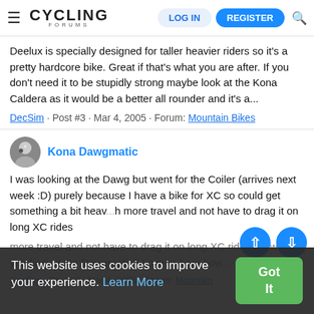Cycling Forums — LOG IN | REGISTER
Deelux is specially designed for taller heavier riders so it's a pretty hardcore bike. Great if that's what you are after. If you don't need it to be stupidly strong maybe look at the Kona Caldera as it would be a better all rounder and it's a...
DecSim · Post #3 · Mar 4, 2005 · Forum: Mountain Bikes
Kona Dawgmatic
I was looking at the Dawg but went for the Coiler (arrives next week :D) purely because I have a bike for XC so could get something a bit heavier with more travel and not have to drag it on long XC rides. How are you finding the Dawgmatic? Love to hear how...
DecSim · Post #3 · Mar 4, 2005 · Forum: Mountain Bikes
This website uses cookies to improve your experience. Learn More